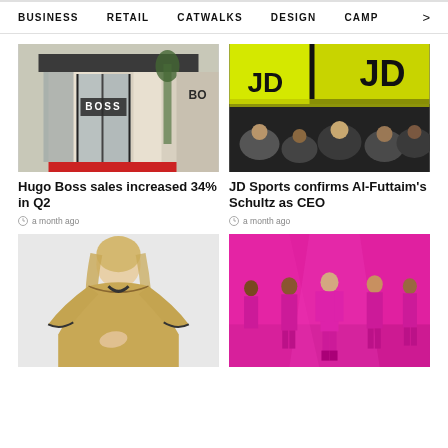BUSINESS   RETAIL   CATWALKS   DESIGN   CAMP >
[Figure (photo): Hugo Boss store exterior with glass doors and red carpet]
Hugo Boss sales increased 34% in Q2
a month ago
[Figure (photo): JD Sports store with yellow signage and crowd of people]
JD Sports confirms Al-Futtaim's Schultz as CEO
a month ago
[Figure (photo): Woman in tan/gold flowing dress with dark trim]
[Figure (photo): Models in bright pink/magenta suits on pink runway]